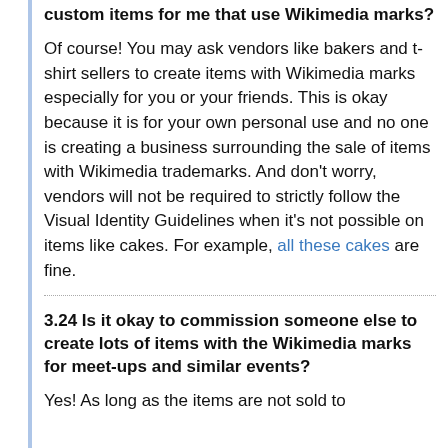custom items for me that use Wikimedia marks?
Of course! You may ask vendors like bakers and t-shirt sellers to create items with Wikimedia marks especially for you or your friends. This is okay because it is for your own personal use and no one is creating a business surrounding the sale of items with Wikimedia trademarks. And don't worry, vendors will not be required to strictly follow the Visual Identity Guidelines when it's not possible on items like cakes. For example, all these cakes are fine.
3.24 Is it okay to commission someone else to create lots of items with the Wikimedia marks for meet-ups and similar events?
Yes! As long as the items are not sold to